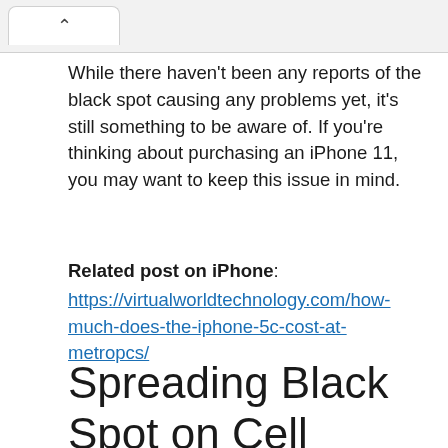^
While there haven't been any reports of the black spot causing any problems yet, it's still something to be aware of. If you're thinking about purchasing an iPhone 11, you may want to keep this issue in mind.
Related post on iPhone: https://virtualworldtechnology.com/how-much-does-the-iphone-5c-cost-at-metropcs/
Spreading Black Spot on Cell Phone Screen